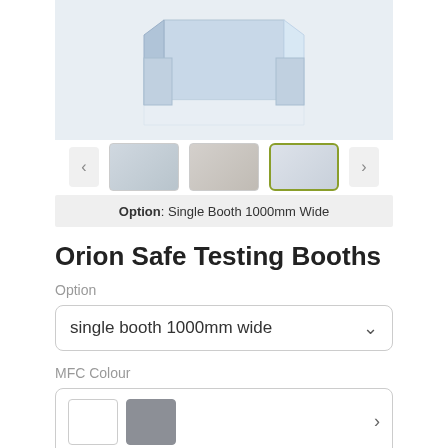[Figure (screenshot): Product image gallery showing Orion Safe Testing Booth - single booth 1000mm wide. Main image shows a light blue/grey partition booth from an angle. Three thumbnails below showing different views, with the third thumbnail (side view) highlighted with an olive/yellow border.]
Option: Single Booth 1000mm Wide
Orion Safe Testing Booths
Option
single booth 1000mm wide
MFC Colour